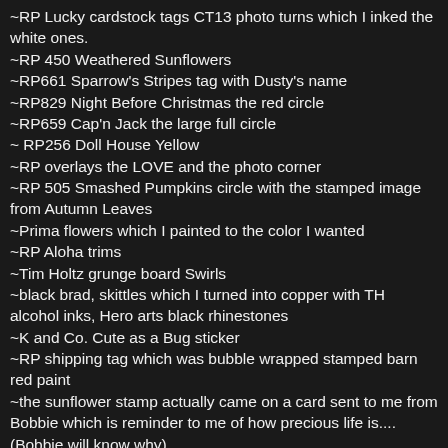~RP Lucky cardstock tags CT13 photo turns which I inked the white ones.
~RP 450 Weathered Sunflowers
~RP661 Sparrow's Stripes tag with Dusty's name
~RP829 Night Before Christmas the red circle
~RP659 Cap'n Jack the large full circle
~ RP256 Doll House Yellow
~RP overlays the LOVE and the photo corner
~RP 505 Smashed Pumpkins circle with the stamped image from Autumn Leaves
~Prima flowers which I painted to the color I wanted
~RP Aloha trims
~Tim Holtz grunge board Swirls
~black brad, skittles which I turned into copper with TH alcohol inks, Hero arts black rhinestones
~K and Co. Cute as a Bug sticker
~RP shipping tag which was bubble wrapped stamped barn red paint
~the sunflower stamp actually came on a card sent to me from Bobbie which is reminder to me of how precious life is....(Bobbie will know why)
~the circles were cut from Cricut from George and then hand